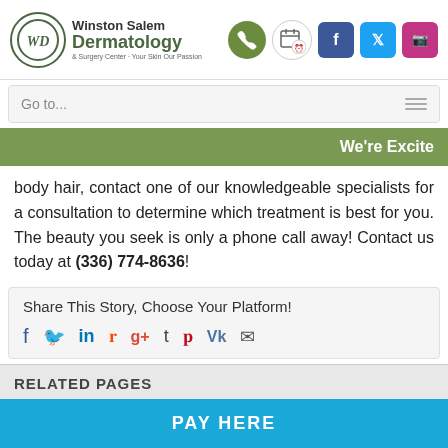Winston Salem Dermatology & Surgery Center - Your Skin Our Passion
Go to...
We're Excite
body hair, contact one of our knowledgeable specialists for a consultation to determine which treatment is best for you. The beauty you seek is only a phone call away! Contact us today at (336) 774-8636!
Share This Story, Choose Your Platform!
RELATED PAGES
PAY HERE